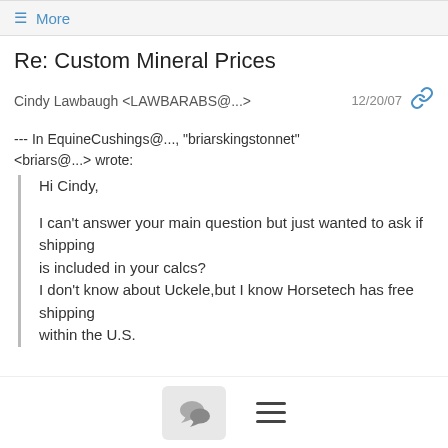≡ More
Re: Custom Mineral Prices
Cindy Lawbaugh <LAWBARABS@...>   12/20/07
--- In EquineCushings@..., "briarskingstonnet" <briars@...> wrote:
Hi Cindy,

I can't answer your main question but just wanted to ask if shipping
is included in your calcs?
I don't know about Uckele,but I know Horsetech has free shipping
within the U.S.